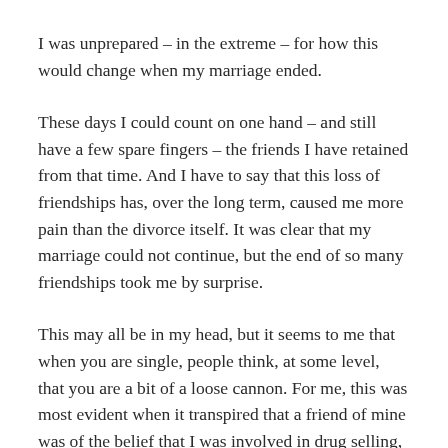I was unprepared – in the extreme – for how this would change when my marriage ended.
These days I could count on one hand – and still have a few spare fingers – the friends I have retained from that time. And I have to say that this loss of friendships has, over the long term, caused me more pain than the divorce itself. It was clear that my marriage could not continue, but the end of so many friendships took me by surprise.
This may all be in my head, but it seems to me that when you are single, people think, at some level, that you are a bit of a loose cannon. For me, this was most evident when it transpired that a friend of mine was of the belief that I was involved in drug selling, despite having had